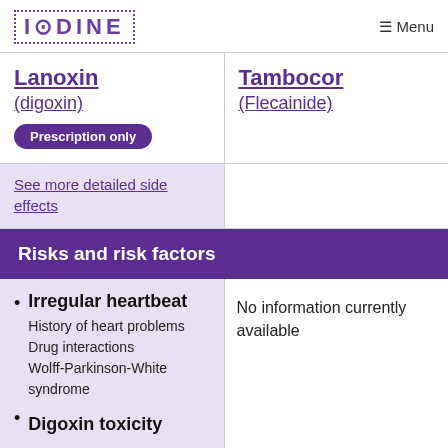IODINE  Menu
Lanoxin (digoxin)
Tambocor (Flecainide)
Prescription only
See more detailed side effects
Risks and risk factors
Irregular heartbeat
History of heart problems
Drug interactions
Wolff-Parkinson-White syndrome
No information currently available
Digoxin toxicity